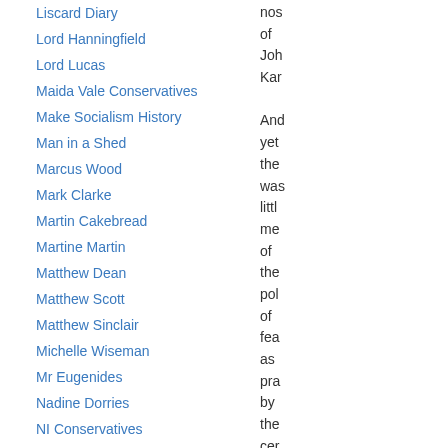Liscard Diary
Lord Hanningfield
Lord Lucas
Maida Vale Conservatives
Make Socialism History
Man in a Shed
Marcus Wood
Mark Clarke
Martin Cakebread
Martine Martin
Matthew Dean
Matthew Scott
Matthew Sinclair
Michelle Wiseman
Mr Eugenides
Nadine Dorries
NI Conservatives
Nick Bourne AM
nos of Joh Kar And yet the was littl me of the pol of fea as pra by the cer left Thi is